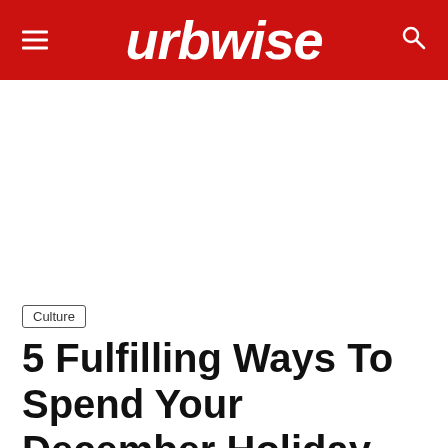urbwise
[Figure (other): White advertisement/image space below the header navigation bar]
Culture
5 Fulfilling Ways To Spend Your December Holiday